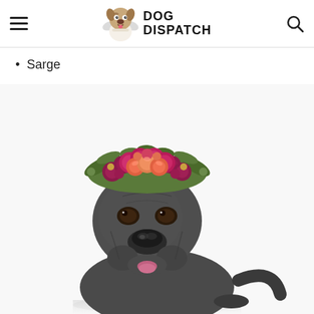Dog Dispatch
Sarge
[Figure (photo): A large brindle Cane Corso dog wearing a floral crown made of pink, magenta, and peach roses with green foliage, looking upward against a white background.]